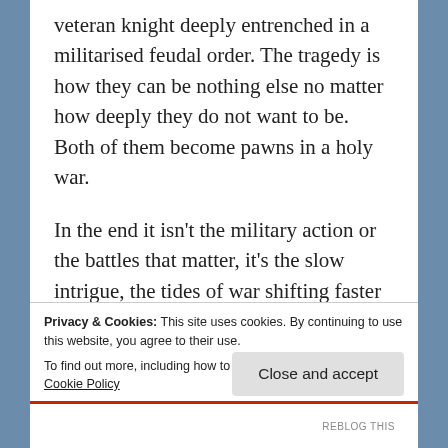veteran knight deeply entrenched in a militarised feudal order. The tragedy is how they can be nothing else no matter how deeply they do not want to be. Both of them become pawns in a holy war.
In the end it isn't the military action or the battles that matter, it's the slow intrigue, the tides of war shifting faster than the sands with no one but the most foolish or fracical feuds deciding the fates of millions. At the same time you have in small corners of the
Privacy & Cookies: This site uses cookies. By continuing to use this website, you agree to their use.
To find out more, including how to control cookies, see here:
Cookie Policy
Close and accept